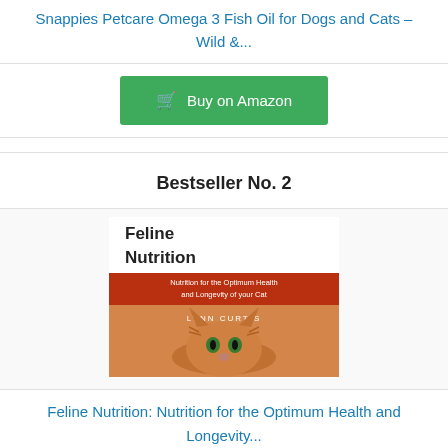Snappies Petcare Omega 3 Fish Oil for Dogs and Cats – Wild &...
Buy on Amazon
Bestseller No. 2
[Figure (photo): Book cover of Feline Nutrition by Lynn Curtis showing an orange tabby cat and a red/brown band with subtitle 'Nutrition for the Optimum Health and Longevity of your Cat']
Feline Nutrition: Nutrition for the Optimum Health and Longevity...